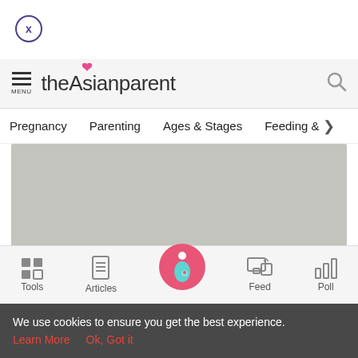[Figure (screenshot): Close button: circle with X inside, purple border]
theAsianparent [logo with heart accent] — navigation header with menu and search icon
Pregnancy   Parenting   Ages & Stages   Feeding & >
[Figure (other): Gray advertisement/image placeholder block]
News
4-Year-Old Girl Dies After Mistaking Bomb For A Toy
Iman was severely injured when she mistook an unexploded
[Figure (other): Bottom tab bar with Tools, Articles, home (pregnant woman icon on pink circle), Feed, Poll icons]
We use cookies to ensure you get the best experience.
Learn More   Ok, Got it